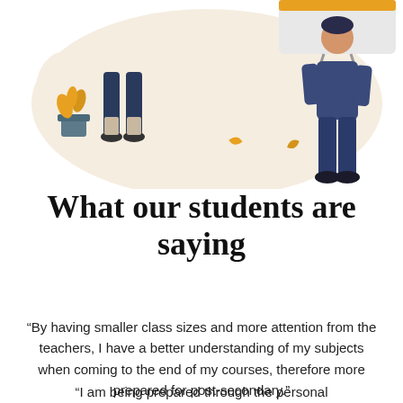[Figure (illustration): Illustration of two students in a classroom setting. Left figure shows a student's legs and feet near a plant pot with yellow flowers. Right figure shows a student in dark blue outfit standing near a whiteboard/screen with a yellow bar at the top. A beige organic blob shape forms the background. Scattered golden/yellow leaf shapes appear in the midground.]
What our students are saying
“By having smaller class sizes and more attention from the teachers, I have a better understanding of my subjects when coming to the end of my courses, therefore more prepared for post-secondary.”
“I am being prepared through the personal